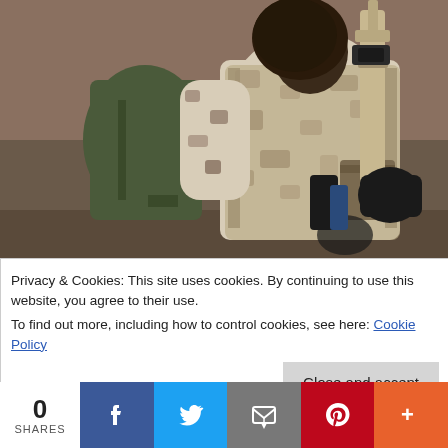[Figure (photo): A soldier in desert camouflage uniform carrying a rifle and backpack, viewed from behind/side, in an arid rocky environment.]
Privacy & Cookies: This site uses cookies. By continuing to use this website, you agree to their use.
To find out more, including how to control cookies, see here: Cookie Policy
Close and accept
0
SHARES